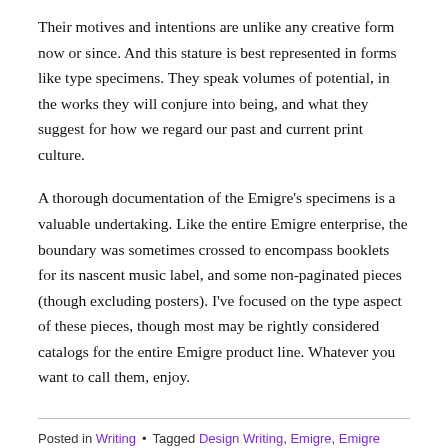Their motives and intentions are unlike any creative form now or since. And this stature is best represented in forms like type specimens. They speak volumes of potential, in the works they will conjure into being, and what they suggest for how we regard our past and current print culture.
A thorough documentation of the Emigre's specimens is a valuable undertaking. Like the entire Emigre enterprise, the boundary was sometimes crossed to encompass booklets for its nascent music label, and some non-paginated pieces (though excluding posters). I've focused on the type aspect of these pieces, though most may be rightly considered catalogs for the entire Emigre product line. Whatever you want to call them, enjoy.
Posted in Writing • Tagged Design Writing, Emigre, Emigre fonts, fonts, Frank Hing, Graphic Design, graphic design criticism, graphic design...